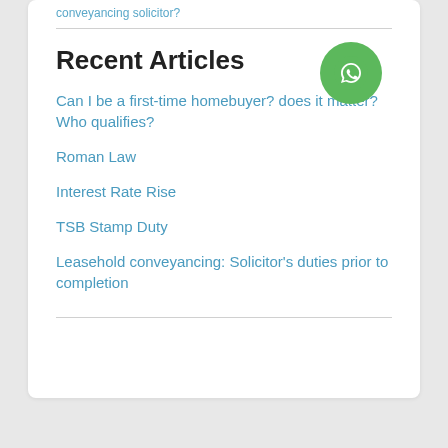conveyancing solicitor?
Recent Articles
Can I be a first-time homebuyer? does it matter? Who qualifies?
Roman Law
Interest Rate Rise
TSB Stamp Duty
Leasehold conveyancing: Solicitor's duties prior to completion